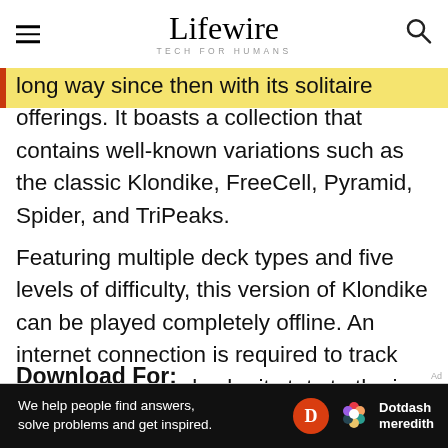Lifewire TECH FOR HUMANS
long way since then with its solitaire offerings. It boasts a collection that contains well-known variations such as the classic Klondike, FreeCell, Pyramid, Spider, and TriPeaks.
Featuring multiple deck types and five levels of difficulty, this version of Klondike can be played completely offline. An internet connection is required to track your progress and submit stats to the in-game leaderboards.
Download For:
We help people find answers, solve problems and get inspired.